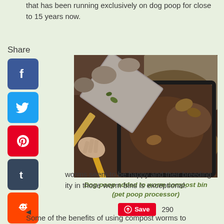that has been running exclusively on dog poop for close to 15 years now.
[Figure (photo): Overhead view of dog poop being scooped with a metal shovel/trowel into a dark worm compost bin container, with soil and organic matter visible]
Dog poop added to worm compost bin (pet poop processor)
worms seem to be happy and their breeding ity in those worm bins is exceptional.
Some of the benefits of using compost worms to recycle your dog poop are: